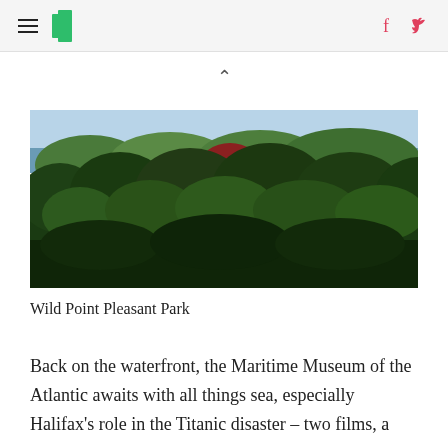HuffPost navigation header with hamburger menu, logo, Facebook and Twitter icons
[Figure (photo): Landscape photo of Wild Point Pleasant Park showing dense green forest canopy with some red-leafed trees and a glimpse of blue water and sky in the background]
Wild Point Pleasant Park
Back on the waterfront, the Maritime Museum of the Atlantic awaits with all things sea, especially Halifax's role in the Titanic disaster – two films, a